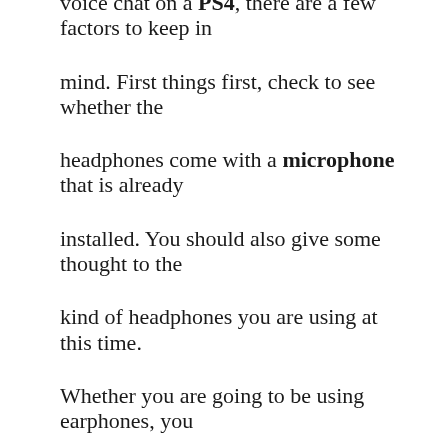voice chat on a PS4, there are a few factors to keep in mind. First things first, check to see whether the headphones come with a microphone that is already installed. You should also give some thought to the kind of headphones you are using at this time. Whether you are going to be using earphones, you will want to check to see if they have a good seal so that the person on the other end of the line can hear